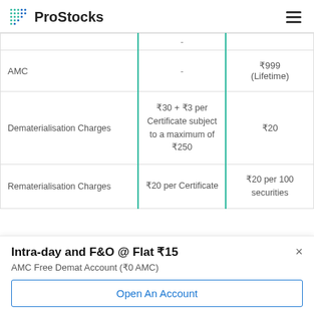ProStocks
|  |  |  |
| --- | --- | --- |
| - |  |  |
| AMC | - | ₹999 (Lifetime) |
| Dematerialisation Charges | ₹30 + ₹3 per Certificate subject to a maximum of ₹250 | ₹20 |
| Rematerialisation Charges | ₹20 per Certificate | ₹20 per 100 securities |
Intra-day and F&O @ Flat ₹15
AMC Free Demat Account (₹0 AMC)
Open An Account